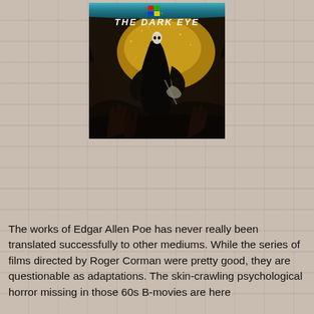[Figure (illustration): Game cover art for 'The Dark Eye' showing a dark cloaked figure with a mask standing over shadowy grasping hands, with a golden/brown stormy background. Title text 'THE DARK EYE' appears at the top in white stylized letters. A Windows logo/icon appears at the very top of the cover on a teal metallic banner.]
The works of Edgar Allen Poe has never really been translated successfully to other mediums. While the series of films directed by Roger Corman were pretty good, they are questionable as adaptations. The skin-crawling psychological horror missing in those 60s B-movies are here